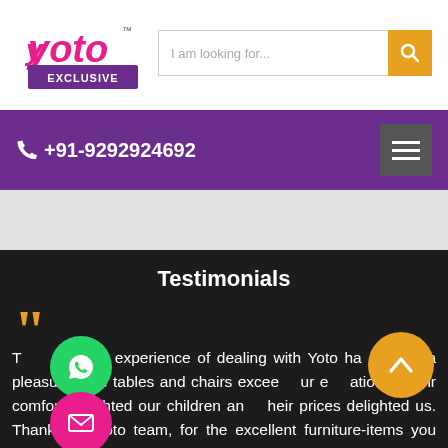[Figure (logo): Yoto Exclusive logo in pink/magenta cursive text with 'EXCLUSIVE' below]
I am looking for...
+91-9292924692
Testimonials
The whole experience of dealing with Yoto has been a pleasure. The tables and chairs exceeded our expectations. Their comfort delighted our children and their prices delighted us. Thank you Yoto team, for the excellent furniture-items you have given.